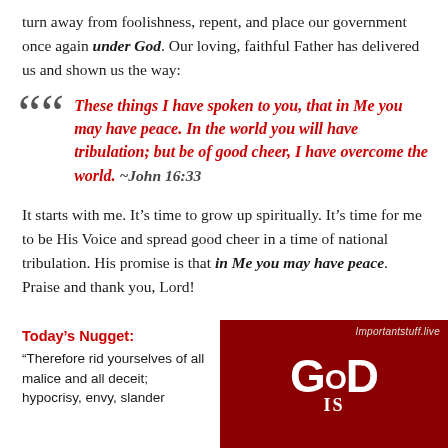turn away from foolishness, repent, and place our government once again under God.  Our loving, faithful Father has delivered us and shown us the way:
These things I have spoken to you, that in Me you may have peace. In the world you will have tribulation; but be of good cheer, I have overcome the world.  ~John 16:33
It starts with me.  It’s time to grow up spiritually.  It’s time for me to be His Voice and spread good cheer in a time of national tribulation.  His promise is that in Me you may have peace.  Praise and thank you, Lord!
Today’s Nugget:
“Therefore rid yourselves of all malice and all deceit; hypocrisy, envy, slander
[Figure (photo): Dark red/maroon circular object (possibly a hat or emblem) with white text reading 'GOD IS' in large bold letters, and watermark text 'Importantstuff.live' in the upper right corner.]